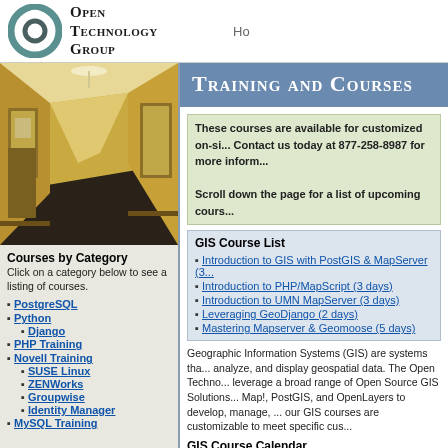[Figure (logo): Open Technology Group logo with circular icon and serif text]
Ho
[Figure (photo): Hallway with yellow walls and dark carpet]
Courses by Category
Click on a category below to see a listing of courses.
PostgreSQL
Python
Django
PHP Training
Novell Training
SUSE Linux
ZENWorks
Groupwise
Identity Manager
MySQL Training
Training and Courses
These courses are available for customized on-si... Contact us today at 877-258-8987 for more inform...
Scroll down the page for a list of upcoming cours...
GIS Course List
Introduction to GIS with PostGIS & MapServer (3...
Introduction to PHP/MapScript (3 days)
Introduction to UMN MapServer (3 days)
Leveraging GeoDjango (2 days)
Mastering Mapserver & Geomoose (5 days)
Geographic Information Systems (GIS) are systems tha... analyze, and display geospatial data. The Open Techno... leverage a broad range of Open Source GIS Solutions... Map!, PostGIS, and OpenLayers to develop, manage, ... our GIS courses are customizable to meet specific cus...
GIS Course Calendar
| COURSE TITLE | START DATE | END DATE | ALL INCLU... |
| --- | --- | --- | --- |